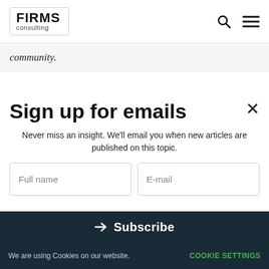FIRMS consulting
community.
Sign up for emails
Never miss an insight. We'll email you when new articles are published on this topic.
Full name
E-mail
Subscribe
We are using Cookies on our website. COOKIE SETTINGS